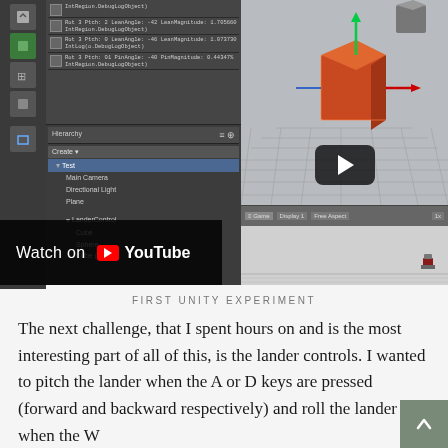[Figure (screenshot): Screenshot of Unity 3D editor showing a console log panel on the left with debug output, a hierarchy panel in the middle showing a scene with LanderControl, Cube, Sphere, Cube(1) objects, and a 3D viewport on the right showing a red/orange cube object with a green arrow indicator. A game view panel at the bottom right shows a small character. A YouTube 'Watch on YouTube' overlay is visible in the bottom-left of the image.]
FIRST UNITY EXPERIMENT
The next challenge, that I spent hours on and is the most interesting part of all of this, is the lander controls. I wanted to pitch the lander when the A or D keys are pressed (forward and backward respectively) and roll the lander when the W or S keys are pressed. This doesn't work like I wanted because the